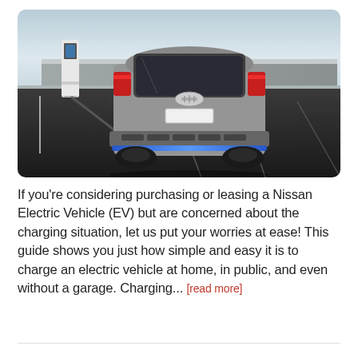[Figure (photo): Rear view of a silver Nissan electric vehicle plugged into a white charging station in a parking lot. The car has a blue accent strip on the rear bumper. The background shows a light sky.]
If you're considering purchasing or leasing a Nissan Electric Vehicle (EV) but are concerned about the charging situation, let us put your worries at ease! This guide shows you just how simple and easy it is to charge an electric vehicle at home, in public, and even without a garage. Charging... [read more]